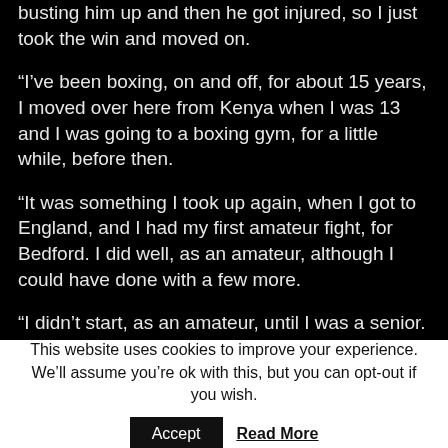busting him up and then he got injured, so I just took the win and moved on.
“I’ve been boxing, on and off, for about 15 years, I moved over here from Kenya when I was 13 and I was going to a boxing gym, for a little while, before then.
“It was something I took up again, when I got to England, and I had my first amateur fight, for Bedford. I did well, as an amateur, although I could have done with a few more.
“I didn’t start, as an amateur, until I was a senior. I was always working, I used to do barbering, but now I work in engineering.
This website uses cookies to improve your experience. We’ll assume you’re ok with this, but you can opt-out if you wish.
Accept  Read More